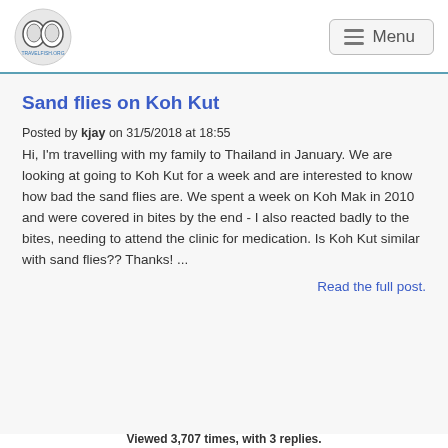Travelfish.org logo | Menu
Sand flies on Koh Kut
Posted by kjay on 31/5/2018 at 18:55
Hi, I'm travelling with my family to Thailand in January. We are looking at going to Koh Kut for a week and are interested to know how bad the sand flies are. We spent a week on Koh Mak in 2010 and were covered in bites by the end - I also reacted badly to the bites, needing to attend the clinic for medication. Is Koh Kut similar with sand flies?? Thanks! ...
Read the full post.
Viewed 3,707 times, with 3 replies.